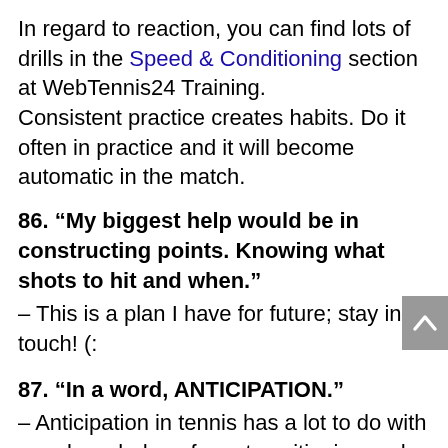In regard to reaction, you can find lots of drills in the Speed & Conditioning section at WebTennis24 Training. Consistent practice creates habits. Do it often in practice and it will become automatic in the match.
86. “My biggest help would be in constructing points. Knowing what shots to hit and when.”
– This is a plan I have for future; stay in touch! (:
87. “In a word, ANTICIPATION.”
– Anticipation in tennis has a lot to do with your knowledge of court positioning and body language (based on which you can tell your opponent’s shot selection). With